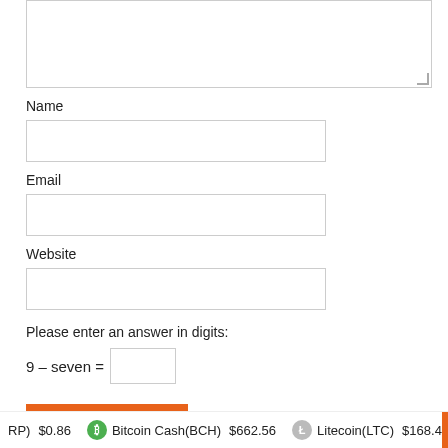Name
Email
Website
Please enter an answer in digits:
Post Comment
MUST READ
RP) $0.86  Bitcoin Cash(BCH) $662.56  Litecoin(LTC) $168.4